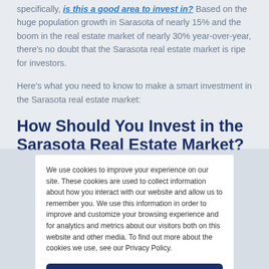specifically, is this a good area to invest in? Based on the huge population growth in Sarasota of nearly 15% and the boom in the real estate market of nearly 30% year-over-year, there's no doubt that the Sarasota real estate market is ripe for investors.
Here's what you need to know to make a smart investment in the Sarasota real estate market:
How Should You Invest in the Sarasota Real Estate Market?
We use cookies to improve your experience on our site. These cookies are used to collect information about how you interact with our website and allow us to remember you. We use this information in order to improve and customize your browsing experience and for analytics and metrics about our visitors both on this website and other media. To find out more about the cookies we use, see our Privacy Policy.